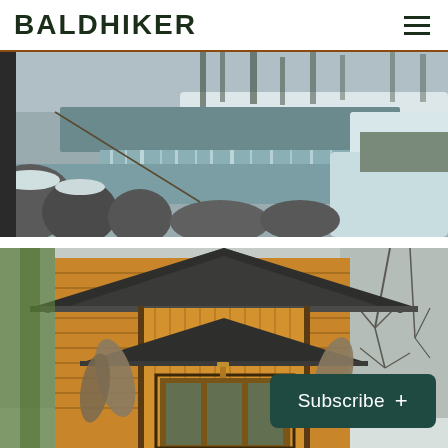BALDHIKER
[Figure (photo): Winter scene with a waterfall cascading over rocks, snow-covered ground and boulders, trees in background with gray sky.]
[Figure (photo): Wooden log cabin with peaked roof, decorative animal furs or pelts hanging at the entrance, green vines on the left, bare winter trees on the right and snow visible.]
Subscribe +